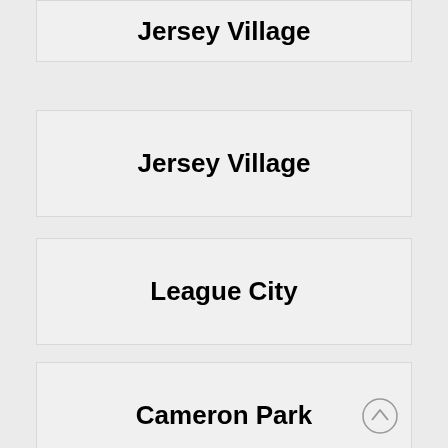Jersey Village
League City
Cameron Park
Lancaster